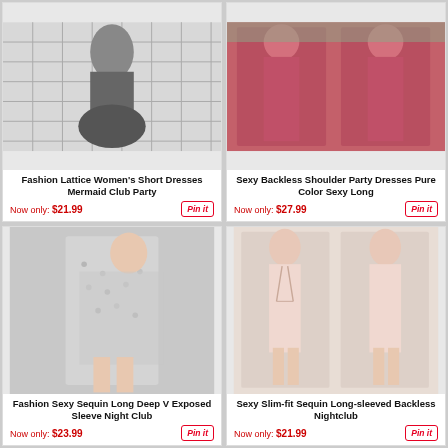[Figure (photo): Fashion Lattice Women's Short Dresses Mermaid Club Party - black and white plaid mermaid style dress on mannequin]
Fashion Lattice Women's Short Dresses Mermaid Club Party
Now only: $21.99
[Figure (photo): Sexy Backless Shoulder Party Dresses Pure Color Sexy Long - burgundy/magenta long dress worn by models outdoors]
Sexy Backless Shoulder Party Dresses Pure Color Sexy Long
Now only: $27.99
[Figure (photo): Fashion Sexy Sequin Long Deep V Exposed Sleeve Night Club - silver sequin wrap mini dress on model]
Fashion Sexy Sequin Long Deep V Exposed Sleeve Night Club
Now only: $23.99
[Figure (photo): Sexy Slim-fit Sequin Long-sleeved Backless Nightclub - blush pink backless bodycon dress on model]
Sexy Slim-fit Sequin Long-sleeved Backless Nightclub
Now only: $21.99